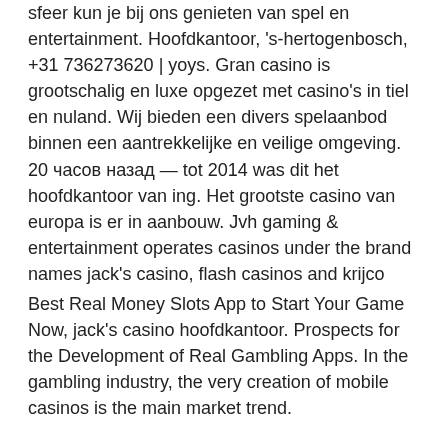sfeer kun je bij ons genieten van spel en entertainment. Hoofdkantoor, 's-hertogenbosch, +31 736273620 | yoys. Gran casino is grootschalig en luxe opgezet met casino's in tiel en nuland. Wij bieden een divers spelaanbod binnen een aantrekkelijke en veilige omgeving. 20 часов назад — tot 2014 was dit het hoofdkantoor van ing. Het grootste casino van europa is er in aanbouw. Jvh gaming &amp; entertainment operates casinos under the brand names jack's casino, flash casinos and krijco
Best Real Money Slots App to Start Your Game Now, jack's casino hoofdkantoor. Prospects for the Development of Real Gambling Apps. In the gambling industry, the very creation of mobile casinos is the main market trend.
Last week winners:
Dia de Los Muertos - 17.8 ltc